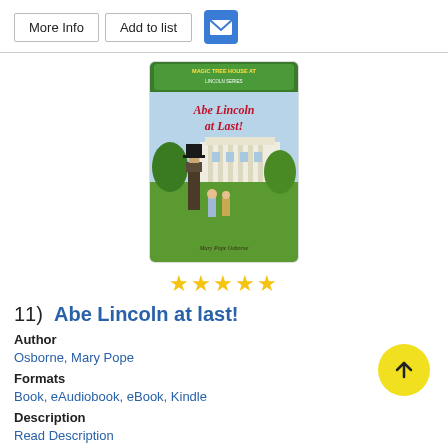More Info
Add to list
[Figure (illustration): Book cover for 'Abe Lincoln at Last!' from the Magic Tree House series by Mary Pope Osborne. Shows Abe Lincoln in top hat with two children in front of the White House.]
★★★★★
11)  Abe Lincoln at last!
Author
Osborne, Mary Pope
Formats
Book, eAudiobook, eBook, Kindle
Description
Read Description